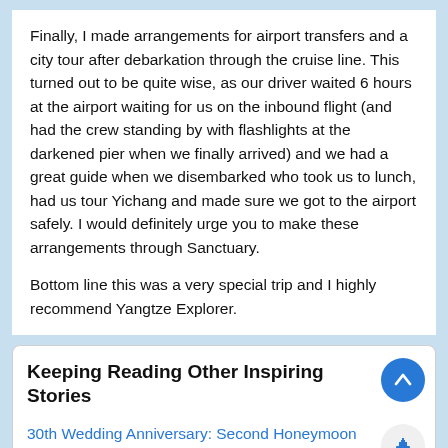Finally, I made arrangements for airport transfers and a city tour after debarkation through the cruise line. This turned out to be quite wise, as our driver waited 6 hours at the airport waiting for us on the inbound flight (and had the crew standing by with flashlights at the darkened pier when we finally arrived) and we had a great guide when we disembarked who took us to lunch, had us tour Yichang and made sure we got to the airport safely. I would definitely urge you to make these arrangements through Sanctuary.
Bottom line this was a very special trip and I highly recommend Yangtze Explorer.
Keeping Reading Other Inspiring Stories
30th Wedding Anniversary: Second Honeymoon Adventure in China